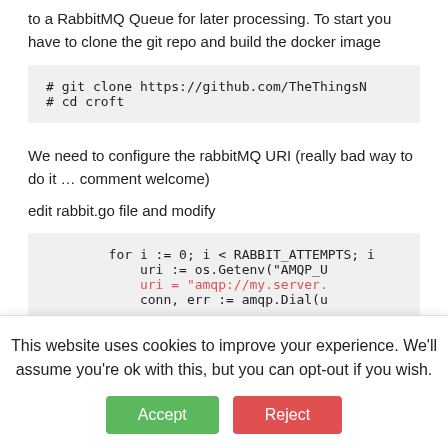to a RabbitMQ Queue for later processing. To start you have to clone the git repo and build the docker image
# git clone https://github.com/TheThingsN
# cd croft
We need to configure the rabbitMQ URI (really bad way to do it … comment welcome)
edit rabbit.go file and modify
for i := 0; i < RABBIT_ATTEMPTS; i
        uri := os.Getenv("AMQP_U
        uri = "amqp://my.server.
        conn, err := amqp.Dial(u
This website uses cookies to improve your experience. We'll assume you're ok with this, but you can opt-out if you wish.